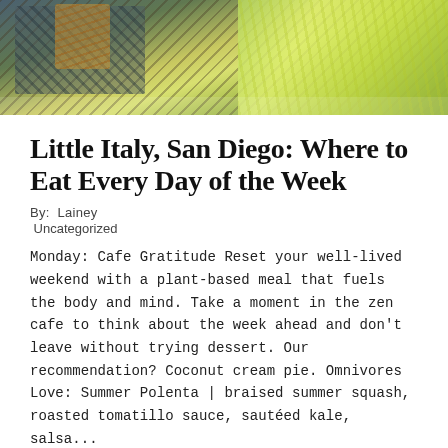[Figure (photo): Outdoor cafe scene with wicker chairs and lush colorful foliage, viewed from above]
Little Italy, San Diego: Where to Eat Every Day of the Week
By:  Lainey
 Uncategorized
Monday: Cafe Gratitude Reset your well-lived weekend with a plant-based meal that fuels the body and mind. Take a moment in the zen cafe to think about the week ahead and don't leave without trying dessert. Our recommendation? Coconut cream pie. Omnivores Love: Summer Polenta | braised summer squash, roasted tomatillo sauce, sautéed kale, salsa...
READ MORE